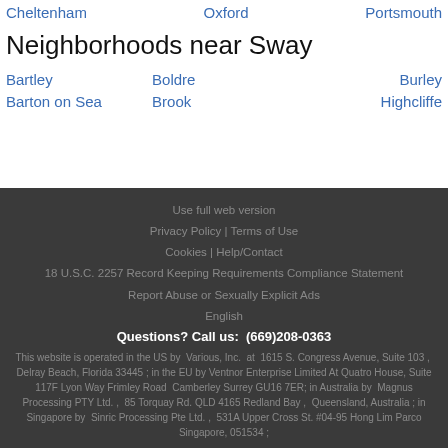Cheltenham
Oxford
Portsmouth
Neighborhoods near Sway
Bartley
Barton on Sea
Boldre
Brook
Burley
Highcliffe
Use full web version
Privacy Policy | Terms of Use
Cookies | Help/Contact
18 U.S.C. 2257 Record Keeping Requirements Compliance Statement
Report Abuse or Sexually Explicit Ads
English
Questions? Call us: (669)208-0363
This website is operated in the US by Various, Inc. at 1615 S. Congress Avenue, Suite 103 , Delray Beach, Florida 33445 ; in the EU by Ventnor Enterprise Limited At Quatro House, Suite 117F Lyon Way Frimley Road Camberley Surrey GU16 7ER; in Australia by Magnus Processing PTY Ltd. , 85 Torquay Rd. QLD 4165 Redland Bay , Queensland, Australia ; in Singapore by Sinric Processing Pte Ltd. , 531A Upper Cross St. #04-95 Hong Lim Parco Singapore, 051534 ;